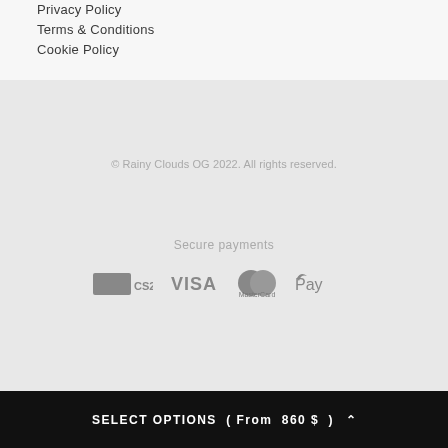Privacy Policy
Terms & Conditions
Cookie Policy
© Rainy Clouds OG 2022. All rights reserved.
Secure payments
[Figure (logo): Payment method logos: CSAO, VISA, MasterCard, Apple Pay]
SELECT OPTIONS  ( From  860 $  )